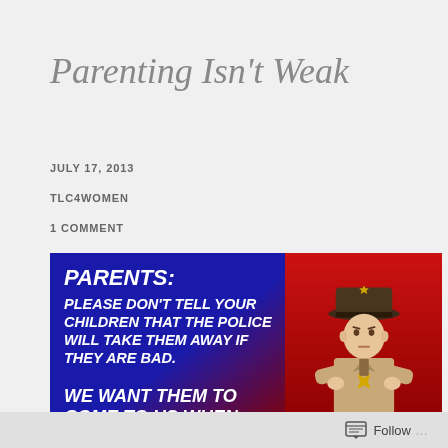Parenting Isn't Weak
JULY 17, 2013
TLC4WOMEN
1 COMMENT
[Figure (photo): Blue and red background image with a police officer in uniform standing with arms crossed. White bold italic text reads: PARENTS: PLEASE DON'T TELL YOUR CHILDREN THAT THE POLICE WILL TAKE THEM AWAY IF THEY ARE BAD. WE WANT THEM TO COME TO US WHEN THEY ARE SCARED.]
Follow